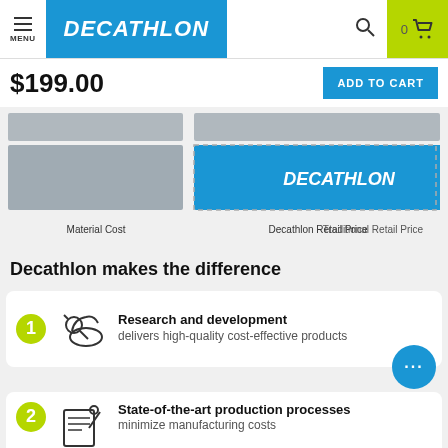MENU | DECATHLON | 0
$199.00
ADD TO CART
[Figure (bar-chart): Price Comparison]
Decathlon makes the difference
Research and development delivers high-quality cost-effective products
State-of-the-art production processes minimize manufacturing costs